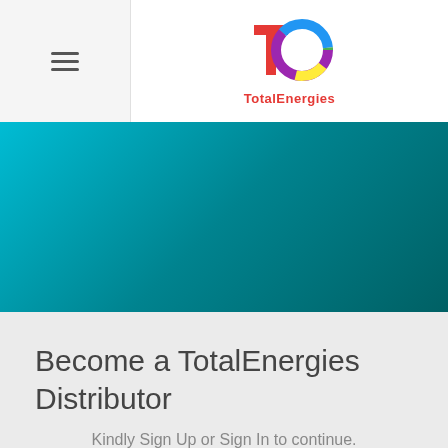TotalEnergies logo and navigation menu
[Figure (logo): TotalEnergies colorful T+E logo mark with text 'TotalEnergies' below in red]
[Figure (photo): Teal/turquoise gradient banner background]
Become a TotalEnergies Distributor
Kindly Sign Up or Sign In to continue.
SIGN UP
SIGN IN